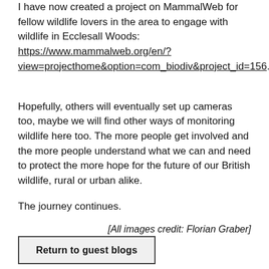I have now created a project on MammalWeb for fellow wildlife lovers in the area to engage with wildlife in Ecclesall Woods: https://www.mammalweb.org/en/?view=projecthome&option=com_biodiv&project_id=156 .
Hopefully, others will eventually set up cameras too, maybe we will find other ways of monitoring wildlife here too. The more people get involved and the more people understand what we can and need to protect the more hope for the future of our British wildlife, rural or urban alike.
The journey continues.
[All images credit: Florian Graber]
Return to guest blogs